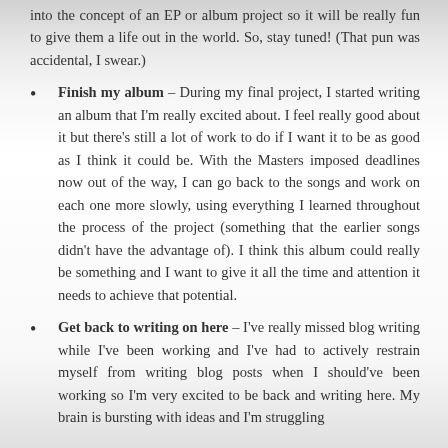into the concept of an EP or album project so it will be really fun to give them a life out in the world. So, stay tuned! (That pun was accidental, I swear.)
Finish my album – During my final project, I started writing an album that I'm really excited about. I feel really good about it but there's still a lot of work to do if I want it to be as good as I think it could be. With the Masters imposed deadlines now out of the way, I can go back to the songs and work on each one more slowly, using everything I learned throughout the process of the project (something that the earlier songs didn't have the advantage of). I think this album could really be something and I want to give it all the time and attention it needs to achieve that potential.
Get back to writing on here – I've really missed blog writing while I've been working and I've had to actively restrain myself from writing blog posts when I should've been working so I'm very excited to be back and writing here. My brain is bursting with ideas and I'm struggling